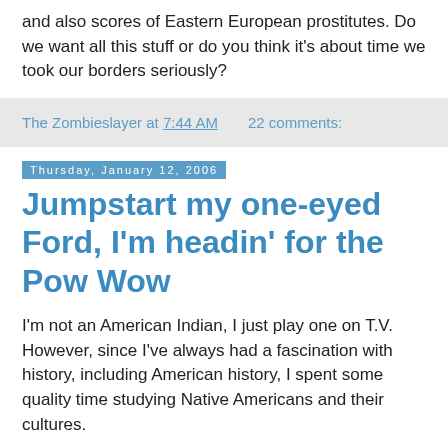and also scores of Eastern European prostitutes. Do we want all this stuff or do you think it's about time we took our borders seriously?
The Zombieslayer at 7:44 AM   22 comments:
Thursday, January 12, 2006
Jumpstart my one-eyed Ford, I'm headin' for the Pow Wow
I'm not an American Indian, I just play one on T.V. However, since I've always had a fascination with history, including American history, I spent some quality time studying Native Americans and their cultures.
TNT in the 90s produced a string of Native American movies that were actually quite good. Robbie Robertson produced the musical end of it, contributing several songs himself and using Indian bands and musicians for the other songs.